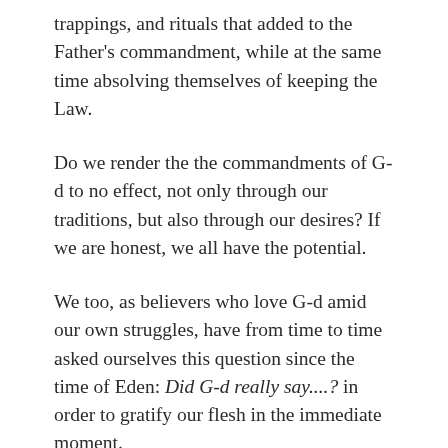trappings, and rituals that added to the Father's commandment, while at the same time absolving themselves of keeping the Law.
Do we render the the commandments of G-d to no effect, not only through our traditions, but also through our desires? If we are honest, we all have the potential.
We too, as believers who love G-d amid our own struggles, have from time to time asked ourselves this question since the time of Eden: Did G-d really say....? in order to gratify our flesh in the immediate moment.
The self is a powerfully tempting spiritual stronghold for evil, and it is through our frailty of mastering it that we are brought to suffering. For if